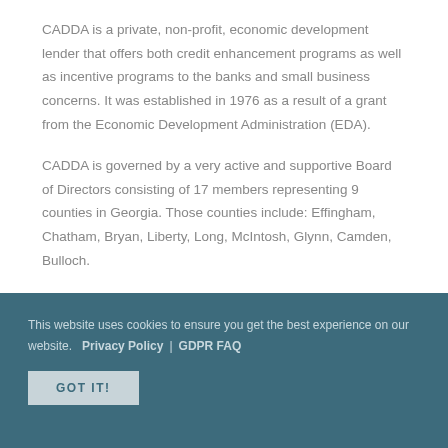CADDA is a private, non-profit, economic development lender that offers both credit enhancement programs as well as incentive programs to the banks and small business concerns. It was established in 1976 as a result of a grant from the Economic Development Administration (EDA).
CADDA is governed by a very active and supportive Board of Directors consisting of 17 members representing 9 counties in Georgia. Those counties include: Effingham, Chatham, Bryan, Liberty, Long, McIntosh, Glynn, Camden, Bulloch.
This website uses cookies to ensure you get the best experience on our website.   Privacy Policy  |  GDPR FAQ
GOT IT!